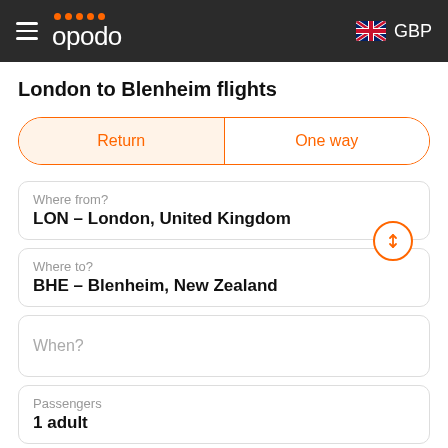opodo GBP
London to Blenheim flights
Return | One way
Where from?
LON – London, United Kingdom
Where to?
BHE – Blenheim, New Zealand
When?
Passengers
1 adult